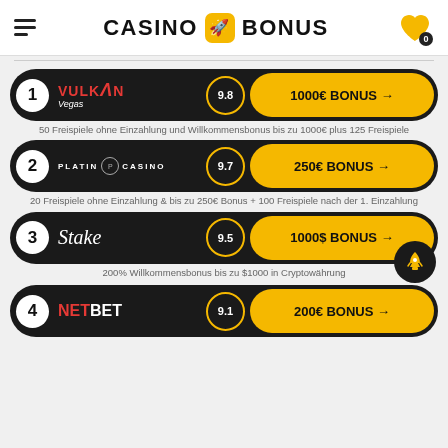CASINO BONUS
1 VULKAN Vegas 9.8 - 1000€ BONUS → | 50 Freispiele ohne Einzahlung und Willkommensbonus bis zu 1000€ plus 125 Freispiele
2 PLATIN CASINO 9.7 - 250€ BONUS → | 20 Freispiele ohne Einzahlung & bis zu 250€ Bonus + 100 Freispiele nach der 1. Einzahlung
3 Stake 9.5 - 1000$ BONUS → | 200% Willkommensbonus bis zu $1000 in Cryptowährung
4 NetBet 9.1 - 200€ BONUS →